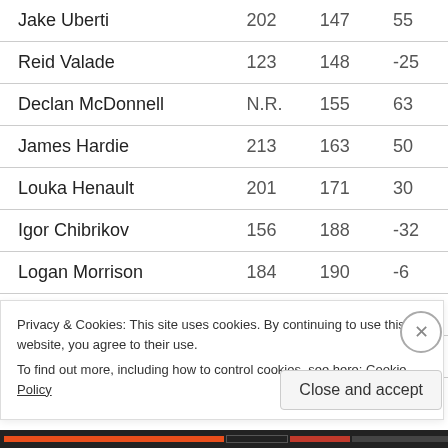| Jake Uberti | 202 | 147 | 55 |
| Reid Valade | 123 | 148 | -25 |
| Declan McDonnell | N.R. | 155 | 63 |
| James Hardie | 213 | 163 | 50 |
| Louka Henault | 201 | 171 | 30 |
| Igor Chibrikov | 156 | 188 | -32 |
| Logan Morrison | 184 | 190 | -6 |
| Tye Kartye | 173 | 192 | -19 |
| Jakob Murray | 155 | 197 | 78 |
Privacy & Cookies: This site uses cookies. By continuing to use this website, you agree to their use.
To find out more, including how to control cookies, see here: Cookie Policy